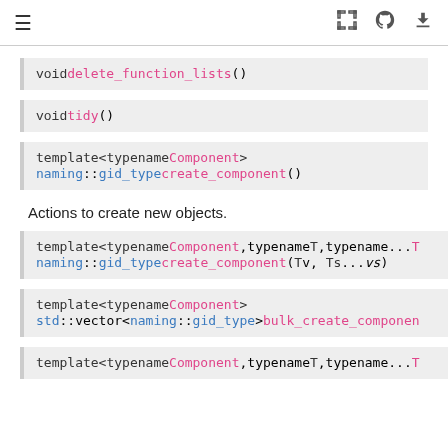≡  [fullscreen] [github] [download]
void delete_function_lists()
void tidy()
template<typename Component>
naming::gid_type create_component()
Actions to create new objects.
template<typename Component,typename T,typename... T
naming::gid_type create_component(Tv, Ts...vs)
template<typename Component>
std::vector<naming::gid_type> bulk_create_componen
template<typename Component,typename T,typename... T